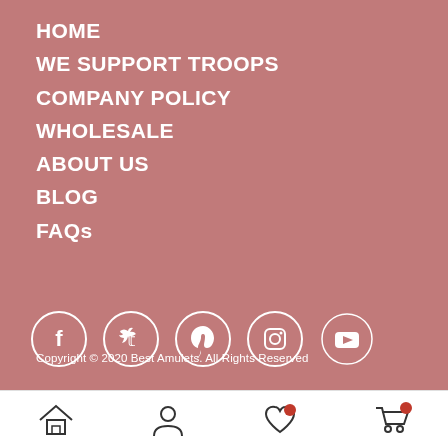HOME
WE SUPPORT TROOPS
COMPANY POLICY
WHOLESALE
ABOUT US
BLOG
FAQs
[Figure (other): Social media icon buttons in circles: Facebook, Twitter, Pinterest, Instagram, YouTube]
Copyright © 2020 Best Amulets. All Rights Reserved
[Figure (other): Bottom navigation bar with home, user, heart/wishlist, and cart icons]